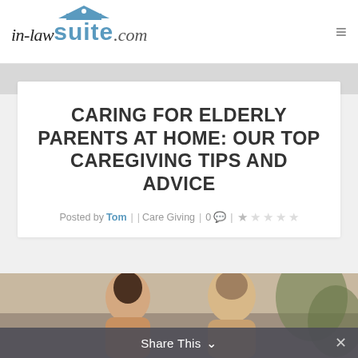in-lawsuite.com
CARING FOR ELDERLY PARENTS AT HOME: OUR TOP CAREGIVING TIPS AND ADVICE
Posted by Tom | | Care Giving | 0 💬 | ★☆☆☆☆
[Figure (photo): Photo of people at the bottom of the article card, partially visible]
Share This ∨  ✕